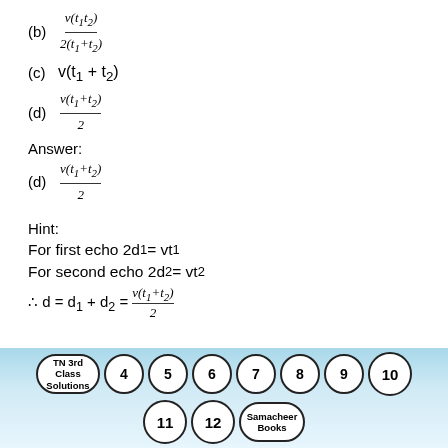(b) v(t1*t2) / 2(t1+t2)
(c) v(t1 + t2)
(d) v(t1+t2) / 2
Answer:
(d) v(t1+t2) / 2
Hint:
For first echo 2d1 = vt1
For second echo 2d2 = vt2
[Figure (infographic): Navigation bubbles showing TN 3rd Class Solutions, numbers 4-12, and Samacheer Books on a blue gradient background]